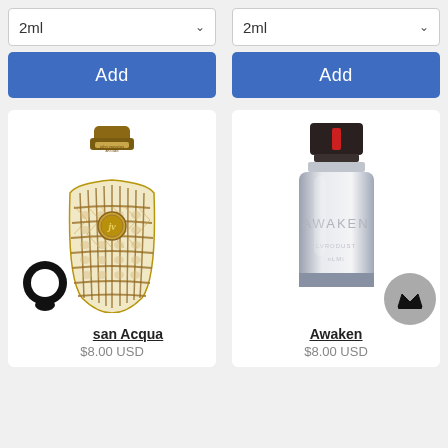[Figure (screenshot): E-commerce perfume product listing page showing two columns. Top row has size dropdowns (2ml) and Add buttons. Bottom row shows two product cards: John Varvatos Artisan Acqua with woven bottle ($8.00 USD) and Awaken fragrance with modern bottle ($8.00 USD). Chat icon and crown badge overlay visible.]
2ml
2ml
Add
Add
san Acqua
$8.00 USD
Awaken
$8.00 USD